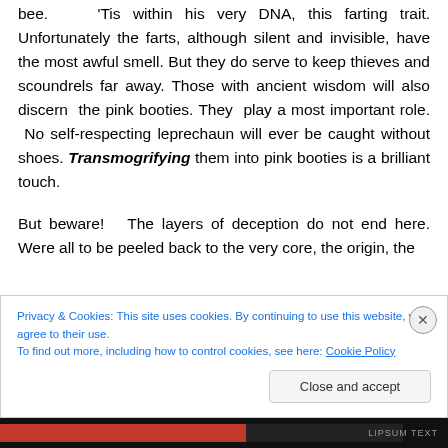bee. 'Tis within his very DNA, this farting trait. Unfortunately the farts, although silent and invisible, have the most awful smell. But they do serve to keep thieves and scoundrels far away. Those with ancient wisdom will also discern the pink booties. They play a most important role. No self-respecting leprechaun will ever be caught without shoes. Transmogrifying them into pink booties is a brilliant touch.

But beware! The layers of deception do not end here. Were all to be peeled back to the very core, the origin, the
Privacy & Cookies: This site uses cookies. By continuing to use this website, you agree to their use.
To find out more, including how to control cookies, see here: Cookie Policy
Close and accept